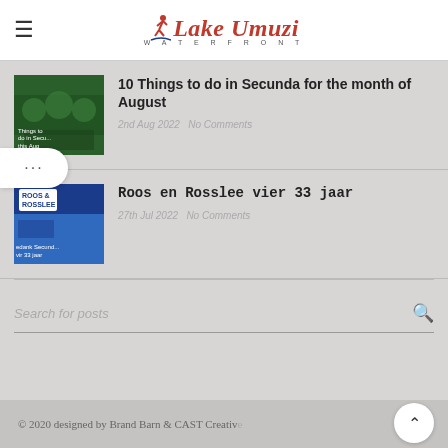Lake Umuzi Waterfront
10 Things to do in Secunda for the month of August
2nd Aug 2022  No Comments
Roos en Rosslee vier 33 jaar
27th Jul 2022  No Comments
Search for posts
© 2020 designed by Brand Barn & CAST Creative